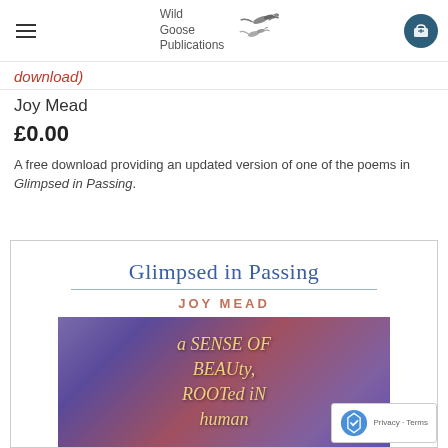Wild Goose Publications
download)
Joy Mead
£0.00
A free download providing an updated version of one of the poems in Glimpsed in Passing.
[Figure (illustration): Book cover image for 'Glimpsed in Passing' by Joy Mead, showing the title in blue serif text, author name in terracotta spaced capitals, and a colorful calligraphic painting with text 'a sense of beauty, rooted in' in golden lettering on a purple/red abstract background.]